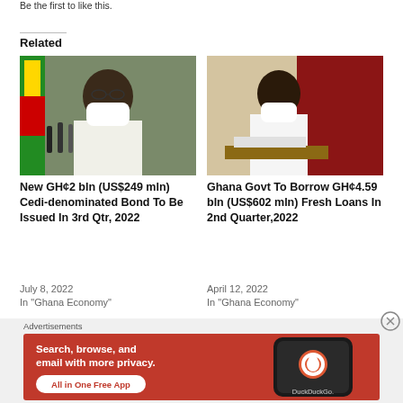Be the first to like this.
Related
[Figure (photo): Person at press conference with microphones and Ghana flag in background]
New GH¢2 bln (US$249 mln) Cedi-denominated Bond To Be Issued In 3rd Qtr, 2022
July 8, 2022
In "Ghana Economy"
[Figure (photo): Person in white sitting at desk in official setting with red and gold drapes]
Ghana Govt To Borrow GH¢4.59 bln (US$602 mln) Fresh Loans In 2nd Quarter,2022
April 12, 2022
In "Ghana Economy"
Advertisements
[Figure (screenshot): DuckDuckGo advertisement banner - orange background with text: Search, browse, and email with more privacy. All in One Free App - with phone mockup showing DuckDuckGo logo]